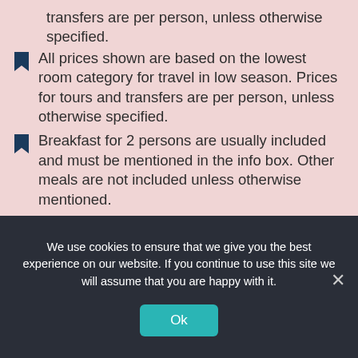transfers are per person, unless otherwise specified.
All prices shown are based on the lowest room category for travel in low season. Prices for tours and transfers are per person, unless otherwise specified.
Breakfast for 2 persons are usually included and must be mentioned in the info box. Other meals are not included unless otherwise mentioned.
Some Hotels offer bonus night stays, early bird discounts and other special inclusions. Please do inquire about special offers by the time of your booking inquiry.
Unless otherwise stated, prices include all government levies and airport taxes as at the
We use cookies to ensure that we give you the best experience on our website. If you continue to use this site we will assume that you are happy with it.